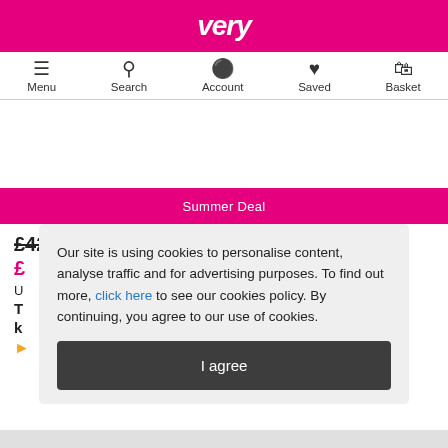very
[Figure (screenshot): Navigation bar with Menu, Search, Account, Saved, Basket icons]
Summer Deal
£42
£
U
T
K
Our site is using cookies to personalise content, analyse traffic and for advertising purposes. To find out more, click here to see our cookies policy. By continuing, you agree to our use of cookies.
I agree